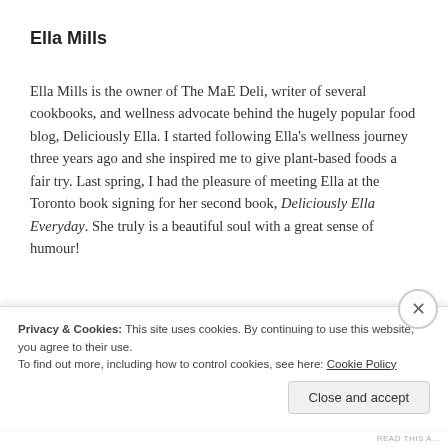Ella Mills
Ella Mills is the owner of The MaE Deli, writer of several cookbooks, and wellness advocate behind the hugely popular food blog, Deliciously Ella. I started following Ella's wellness journey three years ago and she inspired me to give plant-based foods a fair try. Last spring, I had the pleasure of meeting Ella at the Toronto book signing for her second book, Deliciously Ella Everyday. She truly is a beautiful soul with a great sense of humour!
Privacy & Cookies: This site uses cookies. By continuing to use this website, you agree to their use.
To find out more, including how to control cookies, see here: Cookie Policy
Close and accept